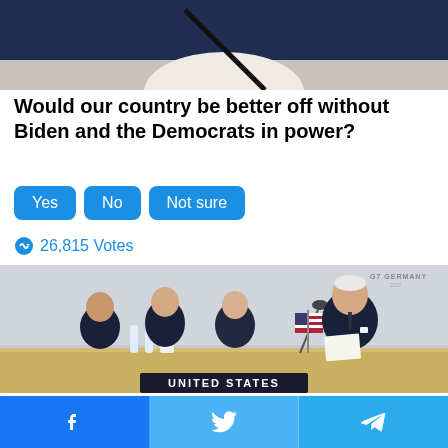[Figure (photo): Partial photo of a person in white shirt against dark background, cropped at top of page]
Would our country be better off without Biden and the Democrats in power?
Yes
No
Not sure
26,815 Votes
[Figure (photo): Photo of President Biden at a conference table with a US flag in front of him reviewing papers, with three officials seated behind him smiling, a UNITED STATES nameplate visible, and a G7 Germany sign in the background]
[Figure (infographic): Social media sharing bar with Facebook, Twitter, and Telegram icons]